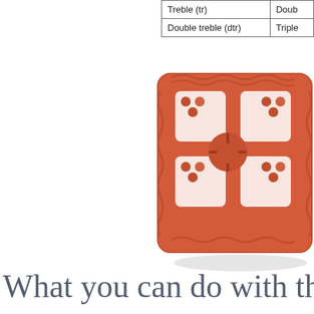| UK Term | US Term |
| --- | --- |
| Treble (tr) | Doub… |
| Double treble (dtr) | Triple… |
[Figure (photo): A crocheted granny square in terracotta/orange-red yarn, photographed on a white background. The square shows a classic granny square pattern with clusters of stitches radiating from the center.]
What you can do with the